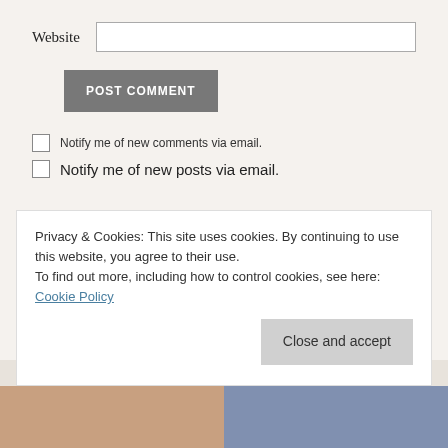Website
POST COMMENT
Notify me of new comments via email.
Notify me of new posts via email.
This site uses Akismet to reduce spam. Learn how your comment data is processed.
Privacy & Cookies: This site uses cookies. By continuing to use this website, you agree to their use.
To find out more, including how to control cookies, see here: Cookie Policy
Close and accept
[Figure (photo): Two cropped photos at the bottom of the page, partially visible.]